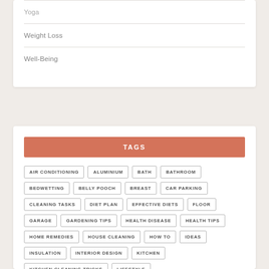Yoga
Weight Loss
Well-Being
TAGS
AIR CONDITIONING
ALUMINIUM
BATH
BATHROOM
BEDWETTING
BELLY POOCH
BREAST
CAR PARKING
CLEANING TASKS
DIET PLAN
EFFECTIVE DIETS
FLOOR
GARAGE
GARDENING TIPS
HEALTH DISEASE
HEALTH TIPS
HOME REMEDIES
HOUSE CLEANING
HOW TO
IDEAS
INSULATION
INTERIOR DESIGN
KITCHEN
KITCHEN CLEANING TRICKS
LIFESTYLE